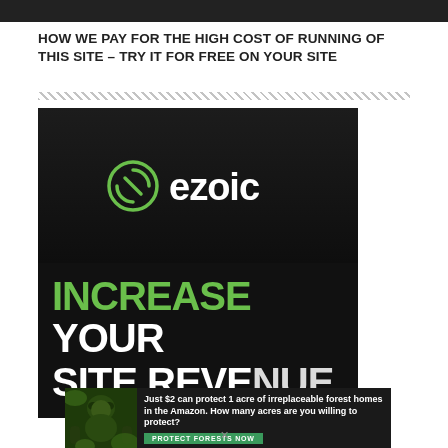HOW WE PAY FOR THE HIGH COST OF RUNNING OF THIS SITE – TRY IT FOR FREE ON YOUR SITE
[Figure (logo): Ezoic advertisement showing the Ezoic logo and text 'INCREASE YOUR SITE REVENUE' on a dark background]
[Figure (infographic): Banner ad: 'Just $2 can protect 1 acre of irreplaceable forest homes in the Amazon. How many acres are you willing to protect?' with a PROTECT FORESTS NOW button]